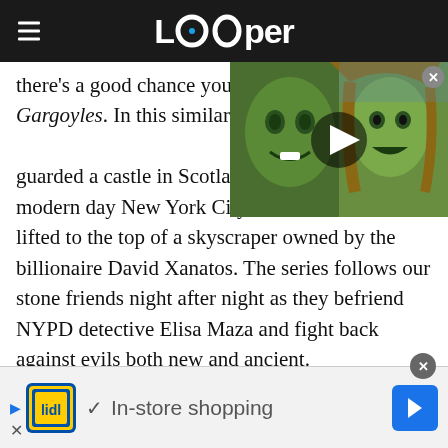Looper
there's a good chance you also enjoyed Gargoyles. In this similarly dark cartoon, stone gargoyles who guarded a castle in Scotland were transported to modern day New York City and had the castle lifted to the top of a skyscraper owned by the billionaire David Xanatos. The series follows our stone friends night after night as they befriend NYPD detective Elisa Maza and fight back against evils both new and ancient.
[Figure (screenshot): Video thumbnail showing green superhero characters (Hulk and She-Hulk) with a play button overlay]
In-store shopping